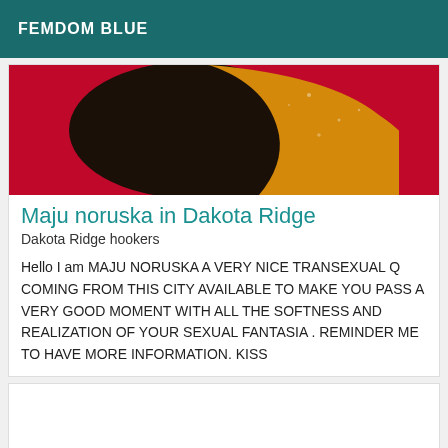FEMDOM BLUE
[Figure (photo): Close-up photo of a dark, rounded object with an orange/yellow shape against a red background, with water droplets visible.]
Maju noruska in Dakota Ridge
Dakota Ridge hookers
Hello I am MAJU NORUSKA A VERY NICE TRANSEXUAL Q COMING FROM THIS CITY AVAILABLE TO MAKE YOU PASS A VERY GOOD MOMENT WITH ALL THE SOFTNESS AND REALIZATION OF YOUR SEXUAL FANTASIA . REMINDER ME TO HAVE MORE INFORMATION. KISS